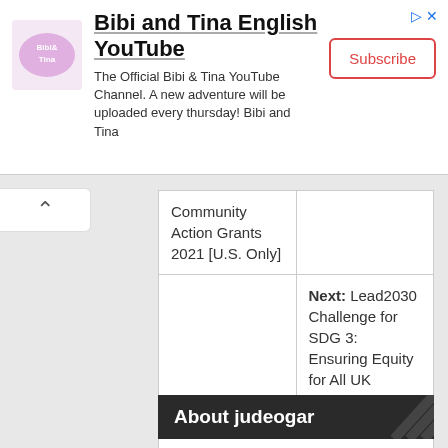[Figure (other): Bibi and Tina YouTube channel advertisement banner with logo, channel description, and Subscribe button]
Community Action Grants 2021 [U.S. Only]
Next: Lead2030 Challenge for SDG 3: Ensuring Equity for All UK Cancer Patients (US$50,000 grant)
About judeogar
[Figure (photo): Photo of Jude Ogar, a man wearing a teal/green shirt]
Jude Ogar is an educator and youth development practitioner with years of experience working in the education and youth development